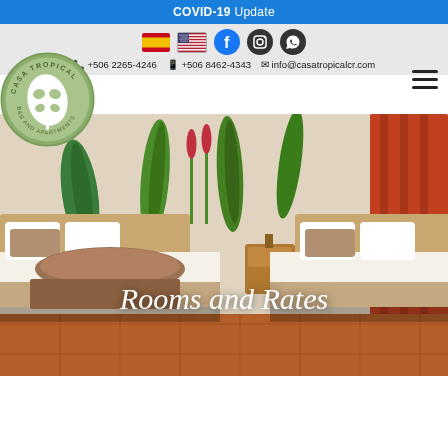COVID-19 Update
+506 2265-4246  +506 8462-4343  info@casatropicalcr.com
[Figure (logo): Casa Tropical B&B and Apartments circular logo with monstera leaf]
Rooms and Rates
[Figure (photo): Hotel room with two beds, white linens with tan/brown accents, tropical leaf wall mural, orange curtains, terracotta tile floor]